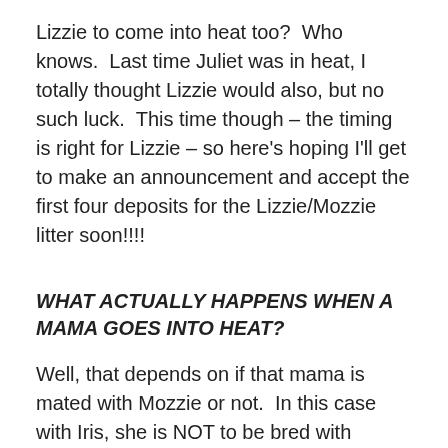Lizzie to come into heat too?  Who knows.  Last time Juliet was in heat, I totally thought Lizzie would also, but no such luck.  This time though – the timing is right for Lizzie – so here's hoping I'll get to make an announcement and accept the first four deposits for the Lizzie/Mozzie litter soon!!!!
WHAT ACTUALLY HAPPENS WHEN A MAMA GOES INTO HEAT?
Well, that depends on if that mama is mated with Mozzie or not.  In this case with Iris, she is NOT to be bred with Mozzie so ideal situation is one of them goes away to a temporary home.  We've chosen to send him to a family that owns a 2018 IGR pup.  We will miss Mozzie